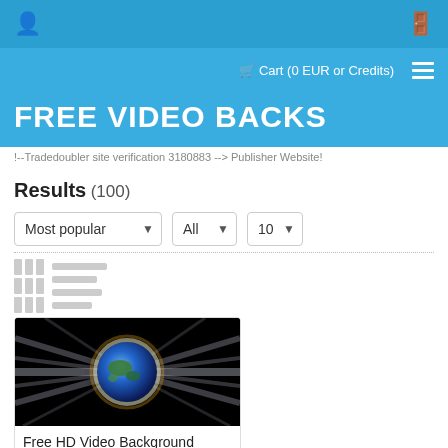User icon | Login icon
Cart (0 EUR or Credits) | Menu
FREE VIDEO BACKS
!--Tradedoubler site verification 3180883 --> Publisher Website!
Results (100)
Most popular | All | 10 (dropdown filters)
[Figure (screenshot): Earth with glowing light rays expanding outward on black background]
Free HD Video Background